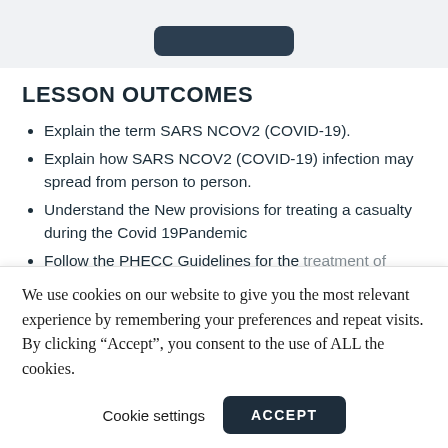[Figure (other): Top banner with dark rounded button partially visible]
LESSON OUTCOMES
Explain the term SARS NCOV2 (COVID-19).
Explain how SARS NCOV2 (COVID-19) infection may spread from person to person.
Understand the New provisions for treating a casualty during the Covid 19Pandemic
Follow the PHECC Guidelines for the treatment of minor injuries. Close Contact
We use cookies on our website to give you the most relevant experience by remembering your preferences and repeat visits. By clicking “Accept”, you consent to the use of ALL the cookies.
Cookie settings   ACCEPT